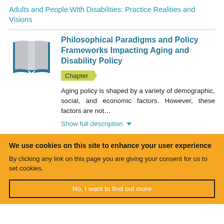Adults and People With Disabilities: Practice Realities and Visions
[Figure (illustration): Open book icon with teal/blue cover and gray pages]
Philosophical Paradigms and Policy Frameworks Impacting Aging and Disability Policy
Chapter
Aging policy is shaped by a variety of demographic, social, and economic factors. However, these factors are not…
Show full description
We use cookies on this site to enhance your user experience
By clicking any link on this page you are giving your consent for us to set cookies.
No, I want to find out more